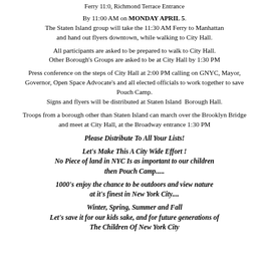Ferry 11:0, Richmond Terrace Entrance
By 11:00 AM on MONDAY APRIL 5.
The Staten Island group will take the 11:30 AM Ferry to Manhattan and hand out flyers downtown, while walking to City Hall.
All participants are asked to be prepared to walk to City Hall.
Other Borough's Groups are asked to be at City Hall by 1:30 PM
Press conference on the steps of City Hall at 2:00 PM calling on GNYC, Mayor, Governor, Open Space Advocate's and all elected officials to work together to save Pouch Camp.
Signs and flyers will be distributed at Staten Island  Borough Hall.
Troops from a borough other than Staten Island can march over the Brooklyn Bridge and meet at City Hall, at the Broadway entrance 1:30 PM
Please Distribute To All Your Lists!
Let's Make This A City Wide Effort !
No Piece of land in NYC Is as important to our children then Pouch Camp.....
1000's enjoy the chance to be outdoors and view nature at it's finest in New York City....
Winter, Spring, Summer and Fall
Let's save it for our kids sake, and for future generations of The Children Of New York City